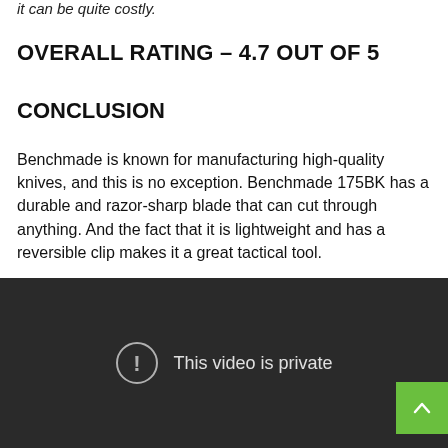it can be quite costly.
OVERALL RATING – 4.7 OUT OF 5
CONCLUSION
Benchmade is known for manufacturing high-quality knives, and this is no exception. Benchmade 175BK has a durable and razor-sharp blade that can cut through anything. And the fact that it is lightweight and has a reversible clip makes it a great tactical tool.
[Figure (other): Embedded video player showing 'This video is private' message with exclamation icon on dark background. A green scroll-to-top button is overlaid in the bottom-right corner.]